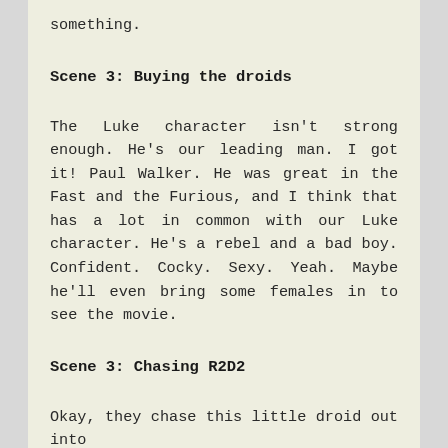something.
Scene 3: Buying the droids
The Luke character isn't strong enough. He's our leading man. I got it! Paul Walker. He was great in the Fast and the Furious, and I think that has a lot in common with our Luke character. He's a rebel and a bad boy. Confident. Cocky. Sexy. Yeah. Maybe he'll even bring some females in to see the movie.
Scene 3: Chasing R2D2
Okay, they chase this little droid out into